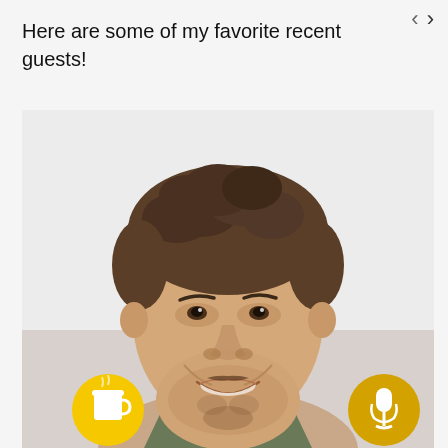Here are some of my favorite recent guests!
[Figure (photo): Headshot of a smiling man with curly brown hair and a short beard, wearing a dark olive/green shirt, against a light background. A yellow coffee cup button is in the bottom left and a yellow microphone button is in the bottom right of the image.]